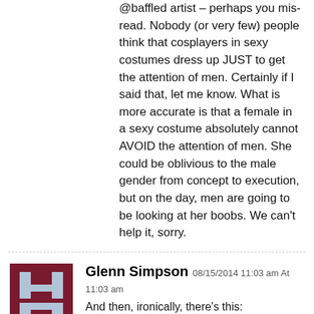@baffled artist – perhaps you mis-read. Nobody (or very few) people think that cosplayers in sexy costumes dress up JUST to get the attention of men. Certainly if I said that, let me know. What is more accurate is that a female in a sexy costume absolutely cannot AVOID the attention of men. She could be oblivious to the male gender from concept to execution, but on the day, men are going to be looking at her boobs. We can't help it, sorry.
Glenn Simpson 08/15/2014 11:03 am At 11:03 am
And then, ironically, there's this:
http://www.bleedingcool.com/forums/front-page-comic-news/85693-otakon-2014-flirtatious-cosplay-music-video-comics-cosplay.html
Seth Hollander 08/15/2014 2:43 pm At 2:43 pm
Looked at the video Glenn Simpson linked. The peop